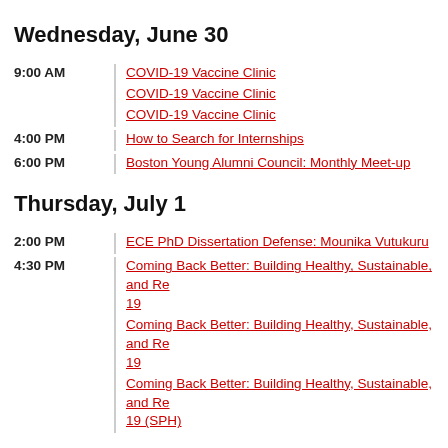Wednesday, June 30
9:00 AM | COVID-19 Vaccine Clinic
9:00 AM | COVID-19 Vaccine Clinic
9:00 AM | COVID-19 Vaccine Clinic
4:00 PM | How to Search for Internships
6:00 PM | Boston Young Alumni Council: Monthly Meet-up
Thursday, July 1
2:00 PM | ECE PhD Dissertation Defense: Mounika Vutukuru
4:30 PM | Coming Back Better: Building Healthy, Sustainable, and Re... 19
4:30 PM | Coming Back Better: Building Healthy, Sustainable, and Re... 19
4:30 PM | Coming Back Better: Building Healthy, Sustainable, and Re... 19 (SPH)
Friday, July 2
All Day | Last Day of Classes